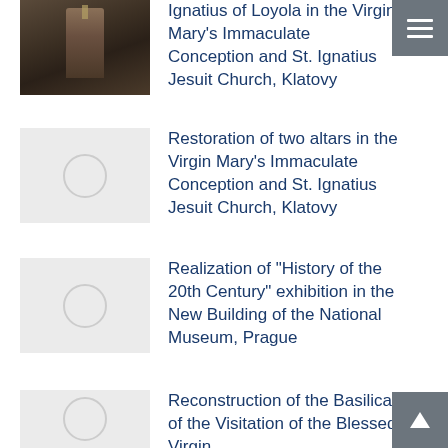[Figure (photo): Photograph of an ornate church altar interior, dark tones, gilded altarpiece visible]
Ignatius of Loyola in the Virgin Mary’s Immaculate Conception and St. Ignatius Jesuit Church, Klatovy
[Figure (photo): Placeholder thumbnail with circle icon, light grey background]
Restoration of two altars in the Virgin Mary’s Immaculate Conception and St. Ignatius Jesuit Church, Klatovy
[Figure (photo): Placeholder thumbnail with circle icon, light grey background]
Realization of “History of the 20th Century” exhibition in the New Building of the National Museum, Prague
[Figure (photo): Placeholder thumbnail with circle icon, light grey background]
Reconstruction of the Basilica of the Visitation of the Blessed Virgin